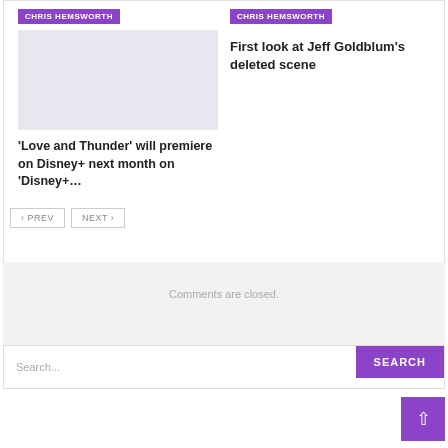CHRIS HEMSWORTH
[Figure (photo): Gray placeholder image for article thumbnail]
'Love and Thunder' will premiere on Disney+ next month on 'Disney+…
CHRIS HEMSWORTH
First look at Jeff Goldblum's deleted scene
‹ PREV
NEXT ›
Comments are closed.
Search...
SEARCH